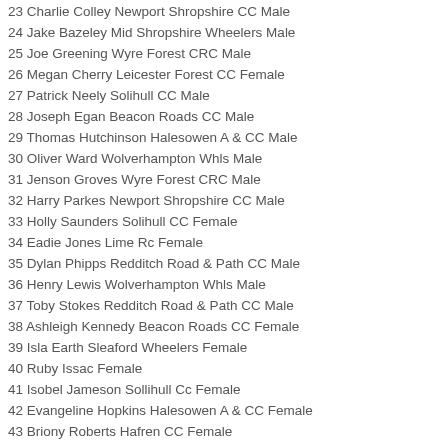23 Charlie Colley Newport Shropshire CC Male
24 Jake Bazeley Mid Shropshire Wheelers Male
25 Joe Greening Wyre Forest CRC Male
26 Megan Cherry Leicester Forest CC Female
27 Patrick Neely Solihull CC Male
28 Joseph Egan Beacon Roads CC Male
29 Thomas Hutchinson Halesowen A & CC Male
30 Oliver Ward Wolverhampton Whls Male
31 Jenson Groves Wyre Forest CRC Male
32 Harry Parkes Newport Shropshire CC Male
33 Holly Saunders Solihull CC Female
34 Eadie Jones Lime Rc Female
35 Dylan Phipps Redditch Road & Path CC Male
36 Henry Lewis Wolverhampton Whls Male
37 Toby Stokes Redditch Road & Path CC Male
38 Ashleigh Kennedy Beacon Roads CC Female
39 Isla Earth Sleaford Wheelers Female
40 Ruby Issac Female
41 Isobel Jameson Sollihull Cc Female
42 Evangeline Hopkins Halesowen A & CC Female
43 Briony Roberts Hafren CC Female
44 Annabella Cook Redditch Road & Path CC Female
45 Lucy Sartain Private Member Female
46 Samuel Brownsword Solihull CC Male
47 Ruby Allen Newport Cc Female